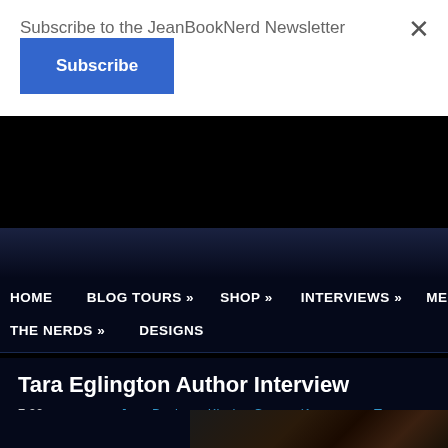Subscribe to the JeanBookNerd Newsletter
Subscribe
HOME | BLOG TOURS » | SHOP » | INTERVIEWS » | MEDIA » | THE NERDS » | DESIGNS
Tara Eglington Author Interview
7:00 AM : JBN, Jean Book Nerd, Kissing Games (Aurora Skye #2), Tara Eglington
[Figure (photo): Author photo of Tara Eglington, partially visible at bottom of page, dark background with bokeh lighting]